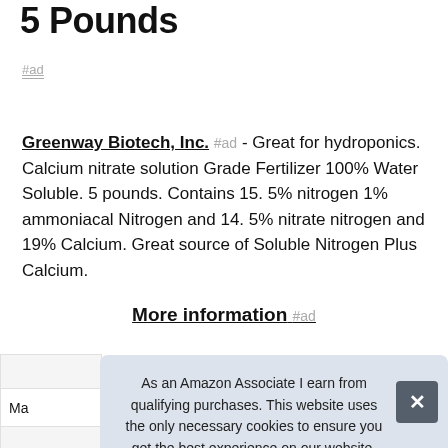5 Pounds
#ad
Greenway Biotech, Inc. #ad - Great for hydroponics. Calcium nitrate solution Grade Fertilizer 100% Water Soluble. 5 pounds. Contains 15. 5% nitrogen 1% ammoniacal Nitrogen and 14. 5% nitrate nitrogen and 19% Calcium. Great source of Soluble Nitrogen Plus Calcium.
More information #ad
As an Amazon Associate I earn from qualifying purchases. This website uses the only necessary cookies to ensure you get the best experience on our website. More information